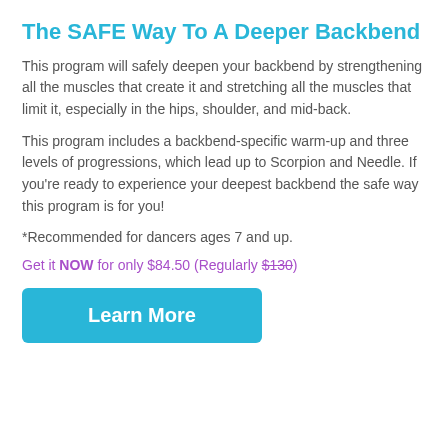The SAFE Way To A Deeper Backbend
This program will safely deepen your backbend by strengthening all the muscles that create it and stretching all the muscles that limit it, especially in the hips, shoulder, and mid-back.
This program includes a backbend-specific warm-up and three levels of progressions, which lead up to Scorpion and Needle. If you're ready to experience your deepest backbend the safe way this program is for you!
*Recommended for dancers ages 7 and up.
Get it NOW for only $84.50 (Regularly $130)
Learn More